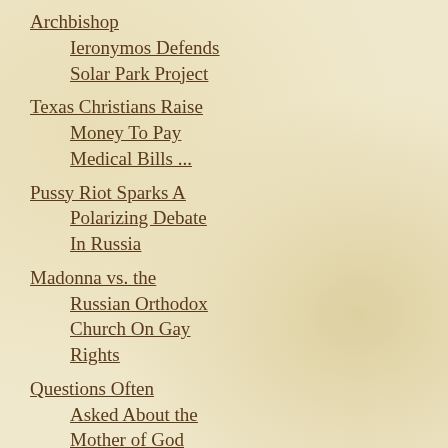Archbishop Ieronymos Defends Solar Park Project
Texas Christians Raise Money To Pay Medical Bills ...
Pussy Riot Sparks A Polarizing Debate In Russia
Madonna vs. the Russian Orthodox Church On Gay Rights
Questions Often Asked About the Mother of God
Photo: Artillery Of Mount Athos From 1821
Romanian Neomartyrs Relics Flow With Myrrh 4 Years...
Artist's “Orthodoxy or